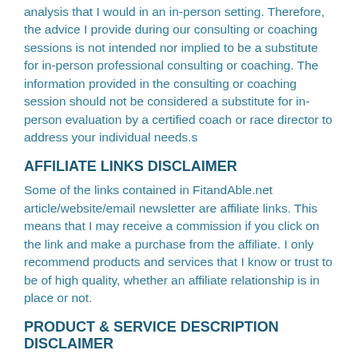analysis that I would in an in-person setting. Therefore, the advice I provide during our consulting or coaching sessions is not intended nor implied to be a substitute for in-person professional consulting or coaching. The information provided in the consulting or coaching session should not be considered a substitute for in-person evaluation by a certified coach or race director to address your individual needs.s
AFFILIATE LINKS DISCLAIMER
Some of the links contained in FitandAble.net article/website/email newsletter are affiliate links. This means that I may receive a commission if you click on the link and make a purchase from the affiliate. I only recommend products and services that I know or trust to be of high quality, whether an affiliate relationship is in place or not.
PRODUCT & SERVICE DESCRIPTION DISCLAIMER
I aim to describe and display my products, services, events, and programs as accurately as possible. However, I cannot guarantee that descriptions of the products, services, events, or programs will be completely accurate to your experience. Likewise, I cannot guarantee their experience or benefits for